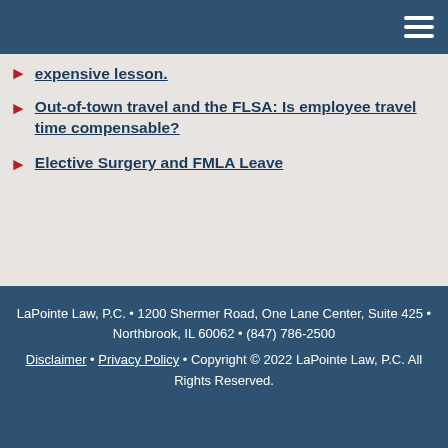expensive lesson.
Out-of-town travel and the FLSA: Is employee travel time compensable?
Elective Surgery and FMLA Leave
LaPointe Law, P.C. • 1200 Shermer Road, One Lane Center, Suite 425 • Northbrook, IL 60062 • (847) 786-2500
Disclaimer • Privacy Policy • Copyright © 2022 LaPointe Law, P.C. All Rights Reserved.